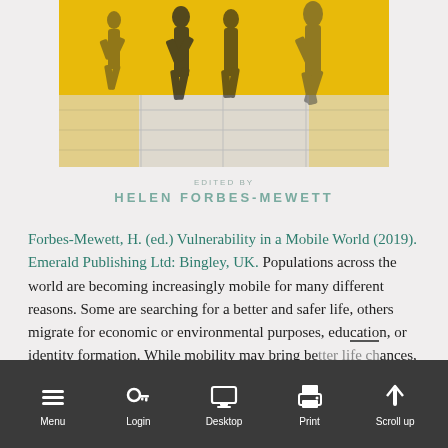[Figure (photo): Book cover photo showing blurred silhouettes of people walking on a tiled floor against a yellow background, motion-blurred, suggesting mobility and movement.]
EDITED BY
HELEN FORBES-MEWETT
Forbes-Mewett, H. (ed.) Vulnerability in a Mobile World (2019). Emerald Publishing Ltd: Bingley, UK. Populations across the world are becoming increasingly mobile for many different reasons. Some are searching for a better and safer life, others migrate for economic or environmental purposes, education, or identity formation. While mobility may bring better life chances, this book shows that for some it means experiencing vulnerability.
Menu  Login  Desktop  Print  Scroll up